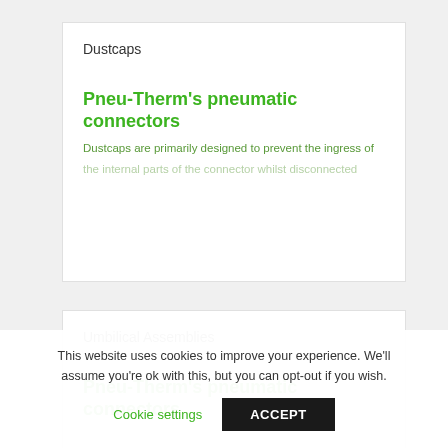Dustcaps
Pneu-Therm's pneumatic connectors
Dustcaps are primarily designed to prevent the ingress of the internal parts of the connector whilst disconnected
Umbilical Assemblies
Pneu-Therm's pneumatic connectors
This website uses cookies to improve your experience. We'll assume you're ok with this, but you can opt-out if you wish.
Cookie settings
ACCEPT